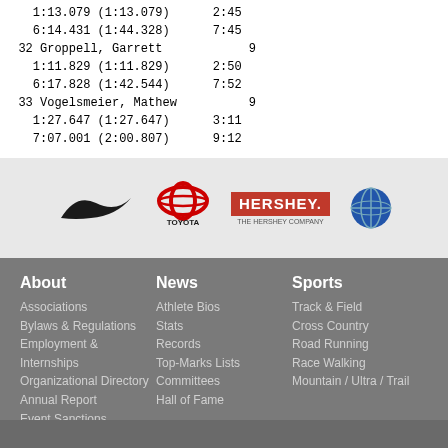1:13.079 (1:13.079)   2:45
  6:14.431 (1:44.328)   7:45
32 Groppell, Garrett                     9
  1:11.829 (1:11.829)   2:50
  6:17.828 (1:42.544)   7:52
33 Vogelsmeier, Mathew                   9
  1:27.647 (1:27.647)   3:11
  7:07.001 (2:00.807)   9:12
[Figure (logo): Sponsor logos: Nike swoosh, Toyota, Hershey The Hershey Company, Gardens of Life (partial)]
About
Associations
Bylaws & Regulations
Employment & Internships
Organizational Directory
Annual Report
Event Sanctions
Memberships
Course Certification
News
Athlete Bios
Stats
Records
Top-Marks Lists
Committees
Hall of Fame
Sports
Track & Field
Cross Country
Road Running
Race Walking
Mountain / Ultra / Trail